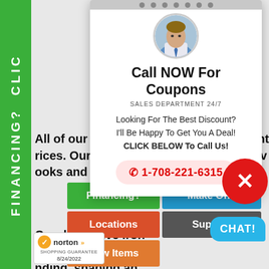[Figure (screenshot): Green sidebar with vertical text FINANCING? CLIC]
All of our gates cap... rices. Our quality ooks and security.
Our distinctive iron... n the market. We ... nding, shaping an weather resistant a
[Figure (infographic): Popup card with avatar photo, Call NOW For Coupons, SALES DEPARTMENT 24/7, phone number 1-708-221-6315]
Call NOW For Coupons
SALES DEPARTMENT 24/7
Looking For The Best Discount? I'll Be Happy To Get You A Deal! CLICK BELOW To Call Us!
1-708-221-6315
Financing?
Make Offe
Locations
Support
New Items
[Figure (logo): Norton Shopping Guarantee badge 8/24/2022]